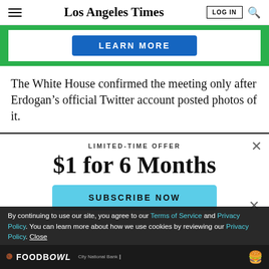Los Angeles Times
[Figure (screenshot): Partial advertisement banner with green background and blue 'LEARN MORE' button]
The White House confirmed the meeting only after Erdogan’s official Twitter account posted photos of it.
LIMITED-TIME OFFER
$1 for 6 Months
SUBSCRIBE NOW
By continuing to use our site, you agree to our Terms of Service and Privacy Policy. You can learn more about how we use cookies by reviewing our Privacy Policy. Close